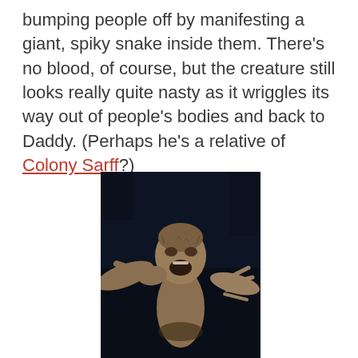bumping people off by manifesting a giant, spiky snake inside them. There's no blood, of course, but the creature still looks really quite nasty as it wriggles its way out of people's bodies and back to Daddy. (Perhaps he's a relative of Colony Sarff?)
[Figure (photo): A horror creature or monster figure with a screaming face and outstretched arms, photographed against a very dark/black background. The figure appears statue-like or made of a brownish-gold material, with an open mouth in a scream and arms spread wide.]